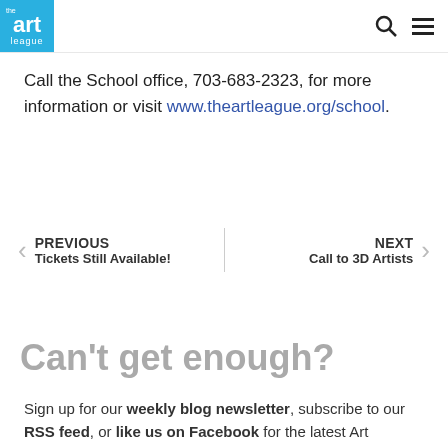the art league
Call the School office, 703-683-2323, for more information or visit www.theartleague.org/school.
PREVIOUS  Tickets Still Available!  |  NEXT  Call to 3D Artists
Can't get enough?
Sign up for our weekly blog newsletter, subscribe to our RSS feed, or like us on Facebook for the latest Art